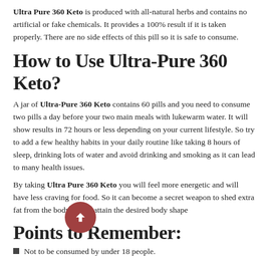Ultra Pure 360 Keto is produced with all-natural herbs and contains no artificial or fake chemicals. It provides a 100% result if it is taken properly. There are no side effects of this pill so it is safe to consume.
How to Use Ultra-Pure 360 Keto?
A jar of Ultra-Pure 360 Keto contains 60 pills and you need to consume two pills a day before your two main meals with lukewarm water. It will show results in 72 hours or less depending on your current lifestyle. So try to add a few healthy habits in your daily routine like taking 8 hours of sleep, drinking lots of water and avoid drinking and smoking as it can lead to many health issues.
By taking Ultra Pure 360 Keto you will feel more energetic and will have less craving for food. So it can become a secret weapon to shed extra fat from the body and to attain the desired body shape
Points to Remember:
Not to be consumed by under 18 people.